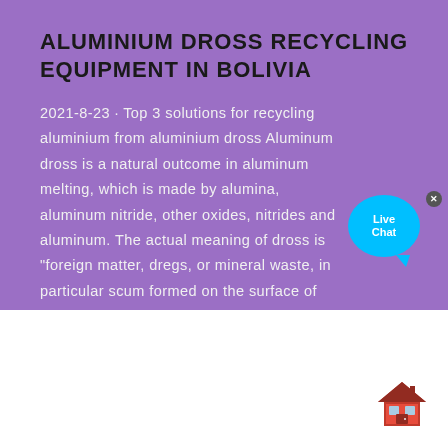ALUMINIUM DROSS RECYCLING EQUIPMENT IN BOLIVIA
2021-8-23 · Top 3 solutions for recycling aluminium from aluminium dross Aluminum dross is a natural outcome in aluminum melting, which is made by alumina, aluminum nitride, other oxides, nitrides and aluminum. The actual meaning of dross is "foreign matter, dregs, or mineral waste, in particular scum formed on the surface of molten metal."
Contact us
[Figure (illustration): Live Chat bubble widget with cyan/blue color, showing 'Live Chat' text and a close (x) button]
[Figure (illustration): Small red house/home icon in the bottom right corner of the white section]